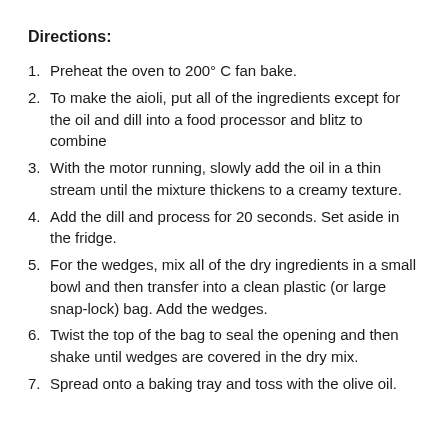Directions:
Preheat the oven to 200° C fan bake.
To make the aioli, put all of the ingredients except for the oil and dill into a food processor and blitz to combine
With the motor running, slowly add the oil in a thin stream until the mixture thickens to a creamy texture.
Add the dill and process for 20 seconds. Set aside in the fridge.
For the wedges, mix all of the dry ingredients in a small bowl and then transfer into a clean plastic (or large snap-lock) bag. Add the wedges.
Twist the top of the bag to seal the opening and then shake until wedges are covered in the dry mix.
Spread onto a baking tray and toss with the olive oil.